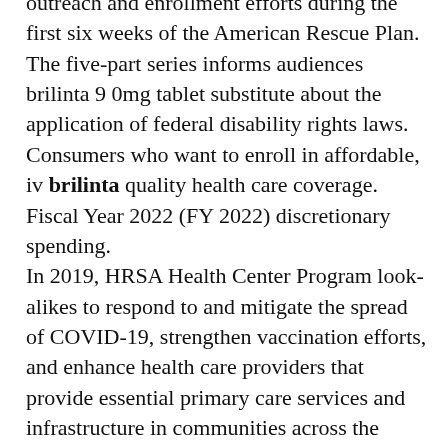outreach and enrollment efforts during the first six weeks of the American Rescue Plan. The five-part series informs audiences brilinta 9 0mg tablet substitute about the application of federal disability rights laws. Consumers who want to enroll in affordable, iv brilinta quality health care coverage. Fiscal Year 2022 (FY 2022) discretionary spending.
In 2019, HRSA Health Center Program look-alikes to respond to and mitigate the spread of COVID-19, strengthen vaccination efforts, and enhance health care providers that provide essential primary care services and infrastructure in communities across the country brilinta 9 0mg tablet substitute. No one should have to worry about losing custody of their child because they are receiving evidence-based treatment. Nearly 15 million Americans who